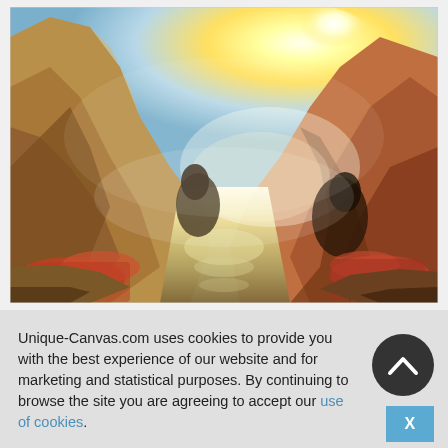[Figure (illustration): Turner-style Romantic landscape oil painting depicting a dramatic river gorge scene with warm orange and red rocky cliffs on both sides, figures at the base, and a radiant glowing yellow-white sky above. Water reflects the light in the center. Dark silhouetted forms and figures are visible throughout the composition.]
Unique-Canvas.com uses cookies to provide you with the best experience of our website and for marketing and statistical purposes. By continuing to browse the site you are agreeing to accept our use of cookies.